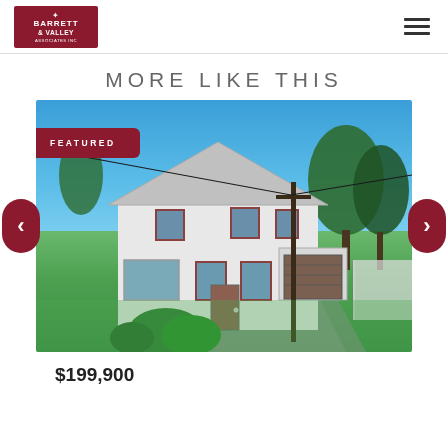[Figure (logo): Barrett & Valley Associates Inc logo in dark red/maroon square]
MORE LIKE THIS
[Figure (photo): Exterior photo of a white two-story colonial house with green lawn, driveway, detached garage, and trees under blue sky. Featured badge in top left corner.]
$199,900